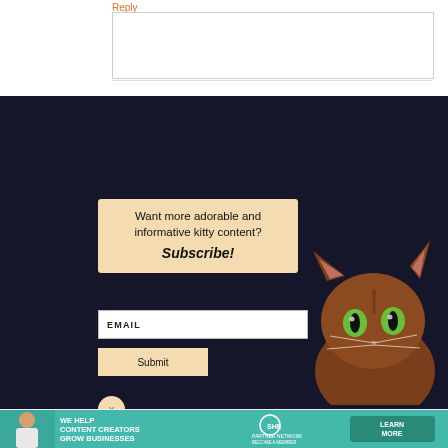Reply
[Figure (screenshot): Newsletter subscription popup modal with dark background and cat photo. Contains text 'Want more adorable and informative kitty content? Subscribe!' with EMAIL input field and Submit button, plus an X close button.]
Want more adorable and informative kitty content? Subscribe!
EMAIL
Submit
X
Powered by Mynewsletter
[Figure (infographic): Advertisement banner with teal background: 'WE HELP CONTENT CREATORS GROW BUSINESSES THROUGH...' with SHE Partner Network logo and LEARN MORE button]